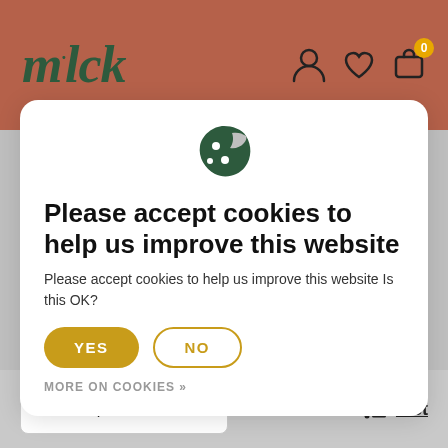m·lck — website header with navigation icons
[Figure (screenshot): Cookie consent modal dialog on m·lck e-commerce website with a cookie icon, title, description, YES and NO buttons, and MORE ON COOKIES link. Below the modal is a product sorting dropdown showing 'Newest products' and a List view toggle.]